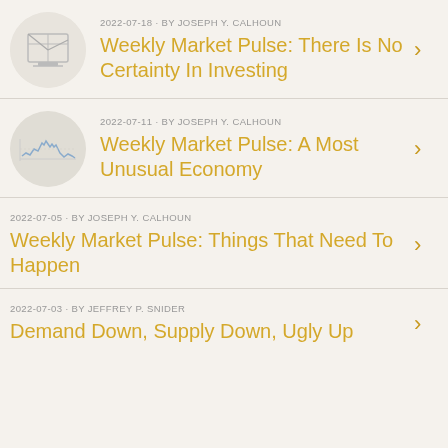2022-07-18 • BY JOSEPH Y. CALHOUN — Weekly Market Pulse: There Is No Certainty In Investing
2022-07-11 • BY JOSEPH Y. CALHOUN — Weekly Market Pulse: A Most Unusual Economy
2022-07-05 • BY JOSEPH Y. CALHOUN — Weekly Market Pulse: Things That Need To Happen
2022-07-03 • BY JEFFREY P. SNIDER — Demand Down, Supply Down, Ugly Up